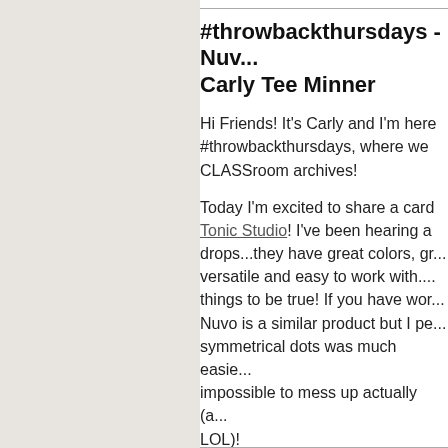#throwbackthursdays - Nuvo... Carly Tee Minner
Hi Friends! It's Carly and I'm here for #throwbackthursdays, where we dig into the CLASSroom archives!
Today I'm excited to share a card... Tonic Studio! I've been hearing a... drops...they have great colors, gr... versatile and easy to work with... things to be true! If you have wor... Nuvo is a similar product but I pe... symmetrical dots was much easie... impossible to mess up actually (a... LOL)!
I did a little test with similar shade... Pearls.